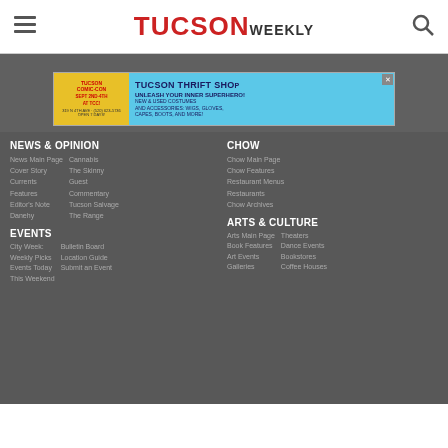TUCSON WEEKLY
[Figure (screenshot): Advertisement for Tucson Thrift Shop / Tucson Comic-Con Sept 2nd-4th at TCC, 319 N 4th Ave, (520) 623-5736, Open 7 Days. Tucson Thrift Shop - Unleash Your Inner Superhero! New & Used Costumes and Accessories: Wigs, Gloves, Capes, Boots, and More!]
NEWS & OPINION
News Main Page
Cover Story
Currents
Features
Editor's Note
Danehy
Cannabis
The Skinny
Guest Commentary
Tucson Salvage
The Range
CHOW
Chow Main Page
Chow Features
Restaurant Menus
Restaurants
Chow Archives
EVENTS
City Week: Weekly Picks
Events Today
This Weekend
Bulletin Board
Location Guide
Submit an Event
ARTS & CULTURE
Arts Main Page
Book Features
Art Events
Galleries
Theaters
Dance Events
Bookstores
Coffee Houses